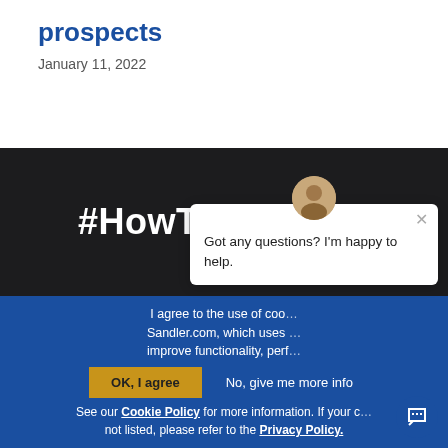prospects
January 11, 2022
[Figure (screenshot): #HowToSucceed heading on dark background]
I agree to the use of cookies on Sandler.com, which uses cookies to improve functionality, performance...
OK, I agree   No, give me more info
See our Cookie Policy for more information. If your country is not listed, please refer to the Privacy Policy.
[Figure (screenshot): Chat popup: Got any questions? I'm happy to help.]